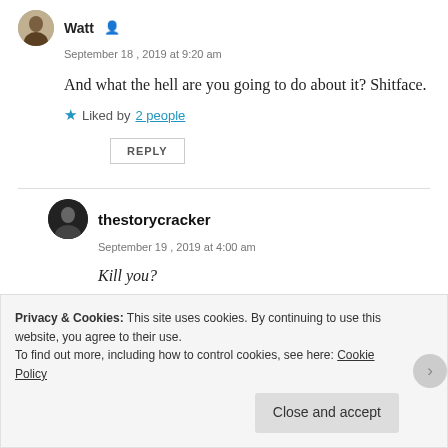Watt
September 18 , 2019 at 9:20 am
And what the hell are you going to do about it? Shitface.
Liked by 2 people
REPLY
thestorycracker
September 19 , 2019 at 4:00 am
Kill you?
Privacy & Cookies: This site uses cookies. By continuing to use this website, you agree to their use. To find out more, including how to control cookies, see here: Cookie Policy
Close and accept